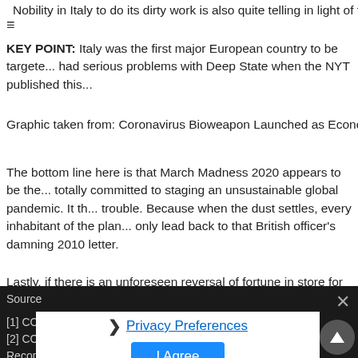Nobility in Italy to do its dirty work is also quite telling in light of the ...
KEY POINT: Italy was the first major European country to be targete... had serious problems with Deep State when the NYT published this...
Graphic taken from: Coronavirus Bioweapon Launched as Economi...
The bottom line here is that March Madness 2020 appears to be the... totally committed to staging an unsustainable global pandemic. It th... trouble. Because when the dust settles, every inhabitant of the plan... only lead back to that British officer's damning 2010 letter.
Lastly, if there is an unforeseen reversal of fortune in store for the el... Until corona came along, the 5G juggernaut rolled across the land d... been profoundly implicated in the coronavirus pandemic, the roll-out...
State of the Nation
March 10, 2020
Source
[1] CORONAVIRUS SPECIAL REPORT: Worldwide Outbreaks of 5G...
[2] COUP-IN-PROGRESS: Pelosi, the Mafia and the Black Nobility...
Recommended Reading